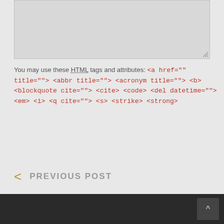[Figure (screenshot): Gray textarea input box with resize handle in bottom-right corner]
You may use these HTML tags and attributes: <a href="" title=""> <abbr title=""> <acronym title=""> <b> <blockquote cite=""> <cite> <code> <del datetime=""> <em> <i> <q cite=""> <s> <strike> <strong>
[Figure (screenshot): SUBMIT button with gold/tan text on light gray background with border]
< PREVIOUS POST
^ scroll to top button in dark footer bar